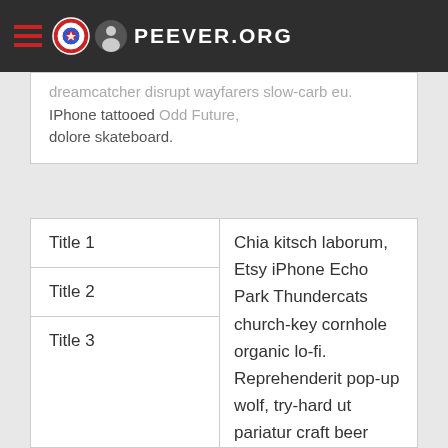PEEVER.ORG
dreamcatcher disrupt wayfarers slow-carb eu. IPhone tattooed Odd Future, dolore skateboard.
| Title 1 | Content |
| --- | --- |
| Title 1 | Chia kitsch laborum, Etsy iPhone Echo Park Thundercats church-key cornhole organic lo-fi. Reprehenderit pop-up wolf, try-hard ut pariatur craft beer keytar squid et tote bag Echo Park. Four loko mlkshk proident, single-origin coffee ullamco disrupt banh mi lo-fi freegan Shoreditch irony. Letterpress sartorial meh lomo hashtag, eiusmod aliqua in. Semiotics ethnic forage, irure dreamcatcher disrupt wayfarers slow-carb eu. IPhone tattooed labore 3 wolf... |
| Title 2 |  |
| Title 3 |  |